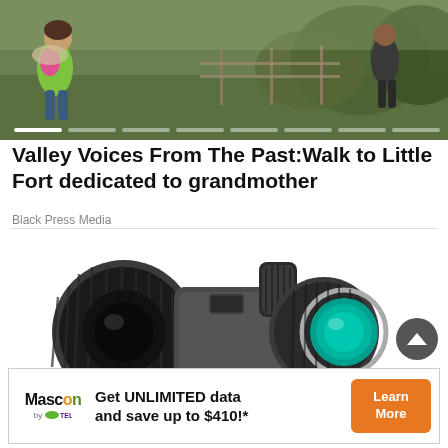[Figure (photo): Hero image showing people walking outdoors in a green rural landscape with fence and foliage in the background. Includes slider pagination dots at the bottom.]
Valley Voices From The Past:Walk to Little Fort dedicated to grandmother
Black Press Media
[Figure (photo): Product photo of a dark gray/black monocular telescope on white background, with teal-tinted lens visible on the right side.]
[Figure (infographic): Advertisement banner for Mascon by TELUS: 'Get UNLIMITED data and save up to $410!*' with a Learn More orange button.]